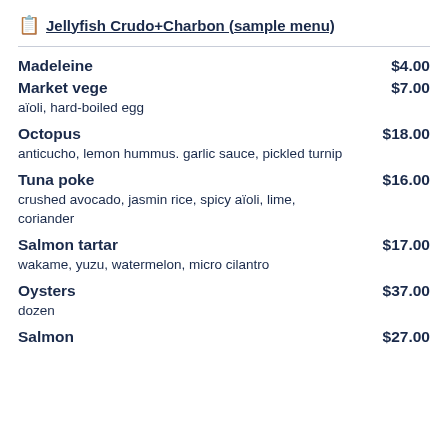Jellyfish Crudo+Charbon (sample menu)
Madeleine $4.00
Market vege $7.00 — aïoli, hard-boiled egg
Octopus $18.00 — anticucho, lemon hummus. garlic sauce, pickled turnip
Tuna poke $16.00 — crushed avocado, jasmin rice, spicy aïoli, lime, coriander
Salmon tartar $17.00 — wakame, yuzu, watermelon, micro cilantro
Oysters $37.00 — dozen
Salmon $27.00